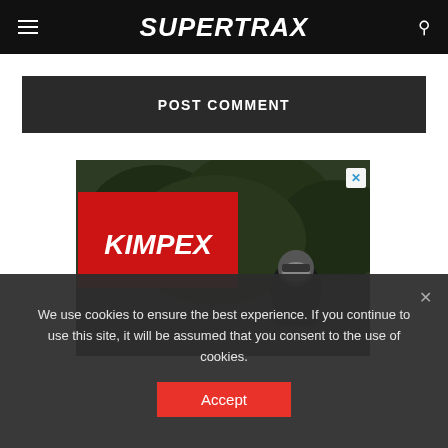SUPERTRAX
POST COMMENT
[Figure (screenshot): Kimpex advertisement banner with red logo on left and motorcycle rider in helmet on right against dark forest background]
We use cookies to ensure the best experience. If you continue to use this site, it will be assumed that you consent to the use of cookies.